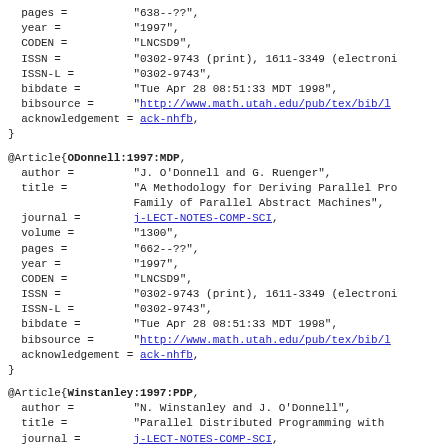pages =          "638--??",
  year =           "1997",
  CODEN =          "LNCSD9",
  ISSN =           "0302-9743 (print), 1611-3349 (electroni
  ISSN-L =         "0302-9743",
  bibdate =        "Tue Apr 28 08:51:33 MDT 1998",
  bibsource =      "http://www.math.utah.edu/pub/tex/bib/l
  acknowledgement = ack-nhfb,
}
@Article{ODonnell:1997:MDP,
  author =         "J. O'Donnell and G. Ruenger",
  title =          "A Methodology for Deriving Parallel Pro
                   Family of Parallel Abstract Machines",
  journal =        j-LECT-NOTES-COMP-SCI,
  volume =         "1300",
  pages =          "662--??",
  year =           "1997",
  CODEN =          "LNCSD9",
  ISSN =           "0302-9743 (print), 1611-3349 (electroni
  ISSN-L =         "0302-9743",
  bibdate =        "Tue Apr 28 08:51:33 MDT 1998",
  bibsource =      "http://www.math.utah.edu/pub/tex/bib/l
  acknowledgement = ack-nhfb,
}
@Article{Winstanley:1997:PDP,
  author =         "N. Winstanley and J. O'Donnell",
  title =          "Parallel Distributed Programming with
  journal =        j-LECT-NOTES-COMP-SCI,
  volume =         "1300",